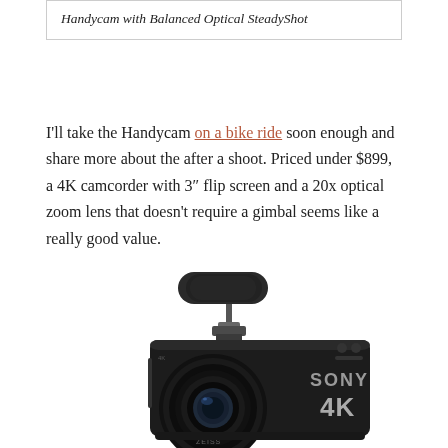Handycam with Balanced Optical SteadyShot
I'll take the Handycam on a bike ride soon enough and share more about the after a shoot. Priced under $899, a 4K camcorder with 3" flip screen and a 20x optical zoom lens that doesn't require a gimbal seems like a really good value.
[Figure (photo): Sony 4K Handycam camcorder with external microphone attached on top, showing ZEISS lens and 4K branding on the body]